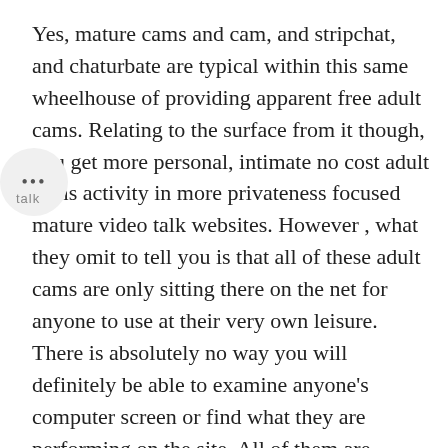Yes, mature cams and cam, and stripchat, and chaturbate are typical within this same wheelhouse of providing apparent free adult cams. Relating to the surface from it though, you get more personal, intimate no cost adult cams activity in more privateness focused mature video talk websites. However , what they omit to tell you is that all of these adult cams are only sitting there on the net for anyone to use at their very own leisure. There is absolutely no way you will definitely be able to examine anyone's computer screen or find what they are performing on the site. All of them are protected in back of layers of encryption plus the owner from the website can configure what goes in with the camcorders and cam feeds right from anywhere in the world as long as they have internet access. So basically, there is no way to keep an eye on anyone.